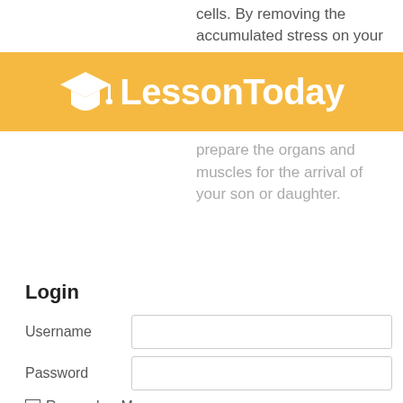cells. By removing the accumulated stress on your
[Figure (logo): LessonToday logo with graduation cap icon on golden/yellow banner background]
prepare the organs and muscles for the arrival of your son or daughter.
Login
Username
Password
Remember Me